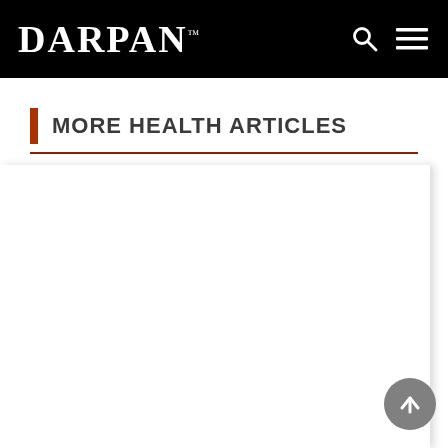DARPAN
MORE HEALTH ARTICLES
[Figure (other): Loading spinner (animated dots in red/rust color indicating content is loading)]